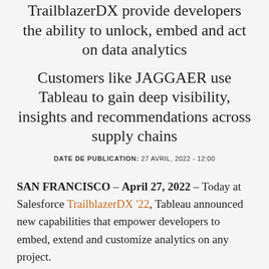TrailblazerDX provide developers the ability to unlock, embed and act on data analytics
Customers like JAGGAER use Tableau to gain deep visibility, insights and recommendations across supply chains
DATE DE PUBLICATION: 27 AVRIL, 2022 - 12:00
SAN FRANCISCO – April 27, 2022 – Today at Salesforce TrailblazerDX '22, Tableau announced new capabilities that empower developers to embed, extend and customize analytics on any project.
Many organizations are now leveraging data as a